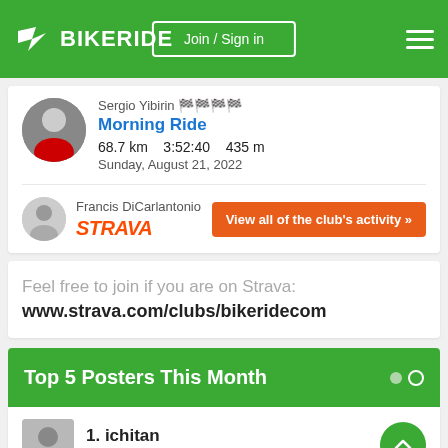BIKERIDE — Join / Sign in
Sergio Yibirin 🏁🏁🏁🏁
Morning Ride
68.7 km   3:52:40   435 m
Sunday, August 21, 2022
Francis DiCarlantonio
STRAVA
View all of the club's activity »
Feel free to join if you are on Strava:
www.strava.com/clubs/bikeridecom
Top 5 Posters This Month
1. ichitan
23 posts
2. Jesper